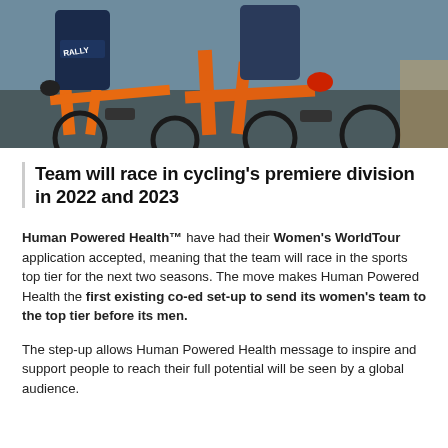[Figure (photo): Close-up photo of cyclists on orange bicycles, one wearing a dark blue Rally jersey and gloves, shot from waist down showing bikes and legs during a race.]
Team will race in cycling's premiere division in 2022 and 2023
Human Powered Health™ have had their Women's WorldTour application accepted, meaning that the team will race in the sports top tier for the next two seasons. The move makes Human Powered Health the first existing co-ed set-up to send its women's team to the top tier before its men.
The step-up allows Human Powered Health message to inspire and support people to reach their full potential will be seen by a global audience.